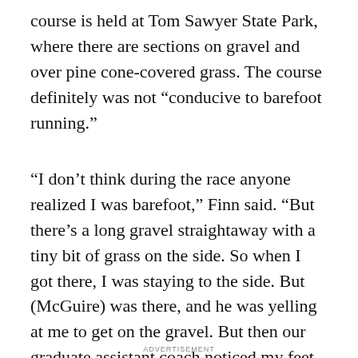course is held at Tom Sawyer State Park, where there are sections on gravel and over pine cone-covered grass. The course definitely was not “conducive to barefoot running.”
“I don’t think during the race anyone realized I was barefoot,” Finn said. “But there’s a long gravel straightaway with a tiny bit of grass on the side. So when I got there, I was staying to the side. But (McGuire) was there, and he was yelling at me to get on the gravel. But then our graduate assistant coach noticed my feet and told him. (McGuire’s) face just dropped.
ADVERTISEMENT